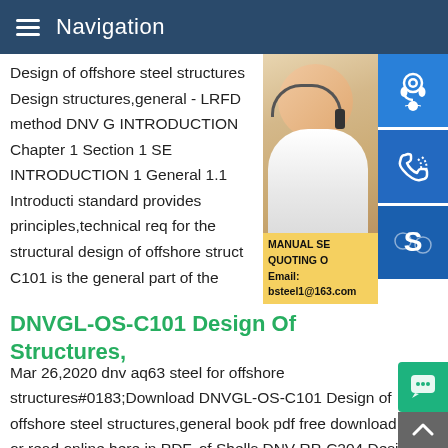Navigation
Design of offshore steel structures Design structures,general - LRFD method DNV G INTRODUCTION Chapter 1 Section 1 SE INTRODUCTION 1 General 1.1 Introducti standard provides principles,technical req for the structural design of offshore struct C101 is the general part of the
[Figure (photo): Customer service representative woman with headset, with blue icon buttons for support, phone, and Skype on the right side, and a promotional box at the bottom showing MANUAL SE QUOTING O Email: bsteel1@163.com]
DNVGL-OS-C101 Design Of Structures,
Mar 26,2020 dnv aq63 steel for offshore structures#0183;Download DNVGL-OS-C101 Design of offshore steel structures,general book pdf free download link or read online here in PDF. of Shells DNV-RP-C204 Design against accidental loads DNV-RP-C205 Environmental conditions and environmental loads DNV-RP-C208 Determination of Structural Capacity by N